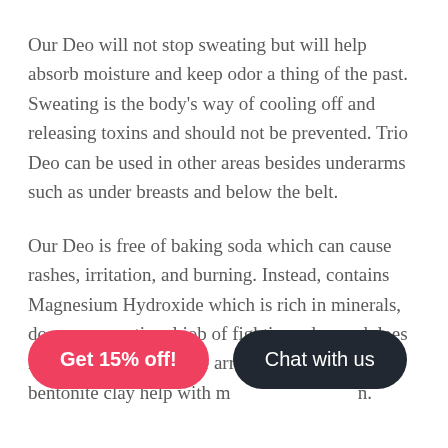Our Deo will not stop sweating but will help absorb moisture and keep odor a thing of the past. Sweating is the body's way of cooling off and releasing toxins and should not be prevented. Trio Deo can be used in other areas besides underarms such as under breasts and below the belt.
Our Deo is free of baking soda which can cause rashes, irritation, and burning. Instead, contains Magnesium Hydroxide which is rich in minerals, does an exceptional job of fighting odor, and does not cause irritation. The arrowroot powder and bentonite clay help with m[obscured]n.